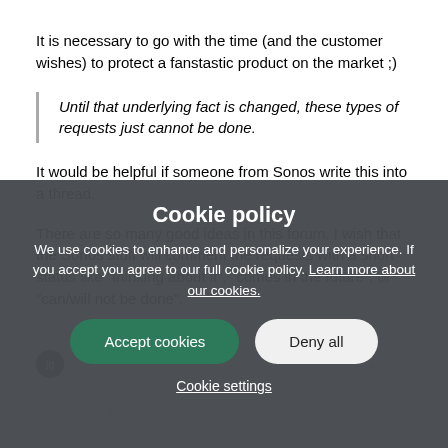It is necessary to go with the time (and the customer wishes) to protect a fanstastic product on the market ;)
Until that underlying fact is changed, these types of requests just cannot be done.
It would be helpful if someone from Sonos write this into a thread.
There are so many good ideas in this forum, I wish that the Sonos stuff will comment the requests with a short status like "thinking about it", "comes in the future", or "can/will not be done".
Cookie policy
We use cookies to enhance and personalize your experience. If you accept you agree to our full cookie policy. Learn more about our cookies.
Accept cookies | Deny all
Cookie settings
jgatie  12 years ago
Hosh;88608 wrote:
a very popular and very old request!